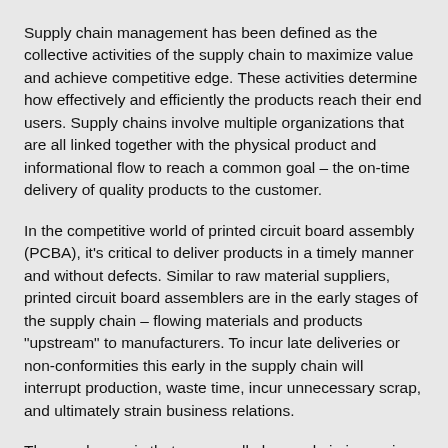Supply chain management has been defined as the collective activities of the supply chain to maximize value and achieve competitive edge.  These activities determine how effectively and efficiently the products reach their end users.  Supply chains involve multiple organizations that are all linked together with the physical product and informational flow to reach a common goal – the on-time delivery of quality products to the customer.
In the competitive world of printed circuit board assembly (PCBA), it's critical to deliver products in a timely manner and without defects.  Similar to raw material suppliers, printed circuit board assemblers are in the early stages of the supply chain – flowing materials and products "upstream" to manufacturers.  To incur late deliveries or non-conformities this early in the supply chain will interrupt production, waste time, incur unnecessary scrap, and ultimately strain business relations.
The good news is that we can all play a role in improving our supply chains.   Let's call it "MIND THE DOC".  When changes to drawings, Gerber files, schematics, bill of materials, etc. occur, update all documents immediately.  Otherwise, it is likely that future problems are imminent.  It could be that a